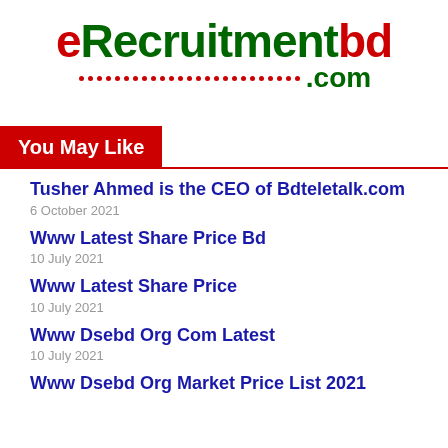[Figure (logo): eRecruitmentbd.com logo with red 'e', green 'Recruitment', red 'bd', dotted line, green '.com']
You May Like
Tusher Ahmed is the CEO of Bdteletalk.com
6 October 2021
Www Latest Share Price Bd
10 July 2021
Www Latest Share Price
10 July 2021
Www Dsebd Org Com Latest
10 July 2021
Www Dsebd Org Market Price List 2021